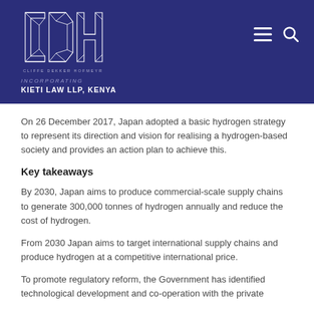[Figure (logo): Cliffe Dekker Hofmeyr (CDH) law firm logo with geometric CDH letters in white on dark navy blue banner, with hamburger menu and search icons top right]
INCORPORATING
KIETI LAW LLP, KENYA
On 26 December 2017, Japan adopted a basic hydrogen strategy to represent its direction and vision for realising a hydrogen-based society and provides an action plan to achieve this.
Key takeaways
By 2030, Japan aims to produce commercial-scale supply chains to generate 300,000 tonnes of hydrogen annually and reduce the cost of hydrogen.
From 2030 Japan aims to target international supply chains and produce hydrogen at a competitive international price.
To promote regulatory reform, the Government has identified technological development and co-operation with the private